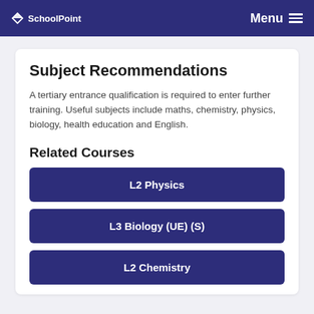SchoolPoint  Menu
Subject Recommendations
A tertiary entrance qualification is required to enter further training. Useful subjects include maths, chemistry, physics, biology, health education and English.
Related Courses
L2 Physics
L3 Biology (UE) (S)
L2 Chemistry